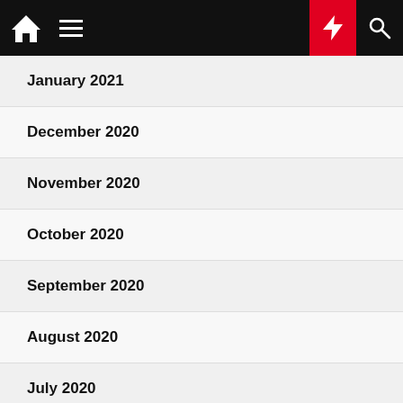Navigation bar with home, menu, dark mode, lightning/breaking news, and search icons
January 2021
December 2020
November 2020
October 2020
September 2020
August 2020
July 2020
June 2020
March 2020
November 2018